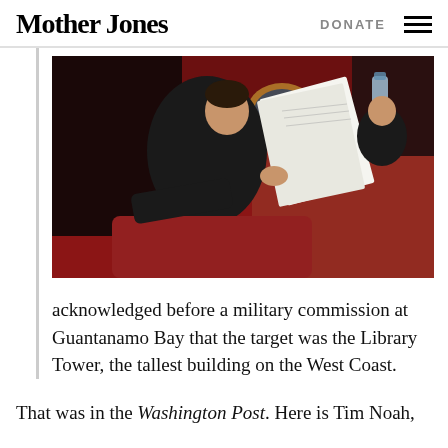Mother Jones   DONATE ☰
[Figure (photo): A man in a dark suit reclines in a red chair, holding and reading papers, in what appears to be a formal government or White House setting with red decor and the presidential seal visible in the background.]
acknowledged before a military commission at Guantanamo Bay that the target was the Library Tower, the tallest building on the West Coast.
That was in the Washington Post. Here is Tim Noah,